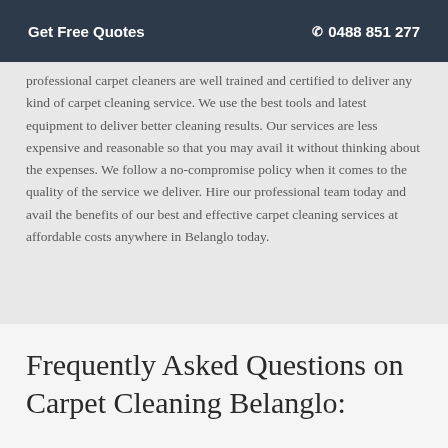Get Free Quotes  ☎ 0488 851 277
professional carpet cleaners are well trained and certified to deliver any kind of carpet cleaning service. We use the best tools and latest equipment to deliver better cleaning results. Our services are less expensive and reasonable so that you may avail it without thinking about the expenses. We follow a no-compromise policy when it comes to the quality of the service we deliver. Hire our professional team today and avail the benefits of our best and effective carpet cleaning services at affordable costs anywhere in Belanglo today.
Frequently Asked Questions on Carpet Cleaning Belanglo: